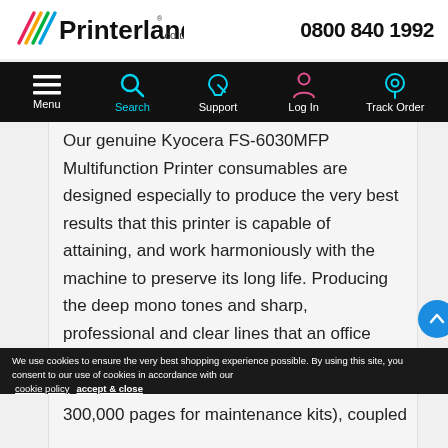Printerland.co.uk | 0800 840 1992
[Figure (screenshot): Printerland.co.uk website navigation bar with Menu, Search, Support, Log In, and Track Order icons on black background]
Our genuine Kyocera FS-6030MFP Multifunction Printer consumables are designed especially to produce the very best results that this printer is capable of attaining, and work harmoniously with the machine to preserve its long life. Producing the deep mono tones and sharp, professional and clear lines that an office should expect from it, the consumables are also incredibly efficient.
We use cookies to ensure the very best shopping experience possible. By using this site, you consent to our use of cookies in accordance with our cookie policy  accept & close
300,000 pages for maintenance kits), coupled